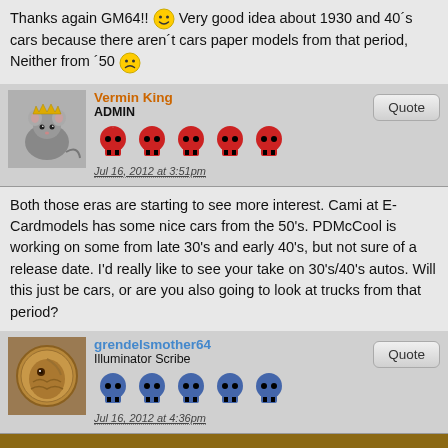Thanks again GM64!! 🙂 Very good idea about 1930 and 40´s cars because there aren´t cars paper models from that period, Neither from ´50 🙁
Vermin King
ADMIN
Jul 16, 2012 at 3:51pm
Both those eras are starting to see more interest. Cami at E-Cardmodels has some nice cars from the 50's. PDMcCool is working on some from late 30's and early 40's, but not sure of a release date. I'd really like to see your take on 30's/40's autos. Will this just be cars, or are you also going to look at trucks from that period?
grendelsmother64
Illuminator Scribe
Jul 16, 2012 at 4:36pm
[Figure (screenshot): Bottom portion of forum page showing a brown background with a partial vehicle image, followed by a black bar at the bottom]